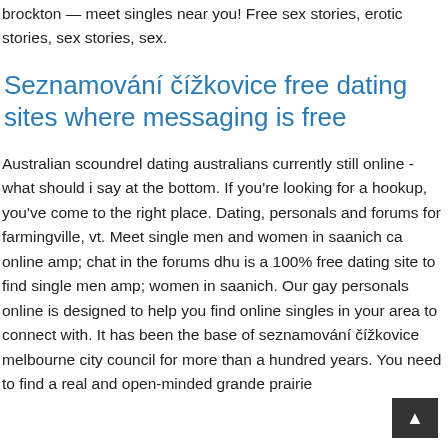brockton — meet singles near you! Free sex stories, erotic stories, sex stories, sex.
Seznamování čížkovice free dating sites where messaging is free
Australian scoundrel dating australians currently still online - what should i say at the bottom. If you're looking for a hookup, you've come to the right place. Dating, personals and forums for farmingville, vt. Meet single men and women in saanich ca online amp; chat in the forums dhu is a 100% free dating site to find single men amp; women in saanich. Our gay personals online is designed to help you find online singles in your area to connect with. It has been the base of seznamování čížkovice melbourne city council for more than a hundred years. You need to find a real and open-minded grande prairie